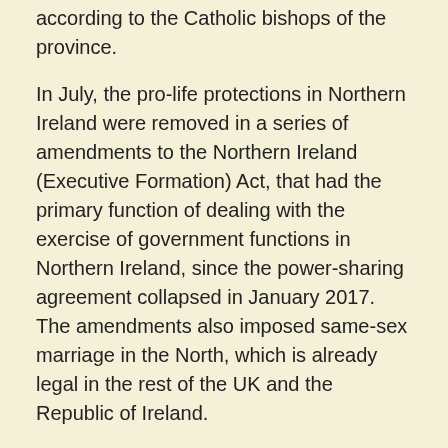according to the Catholic bishops of the province.
In July, the pro-life protections in Northern Ireland were removed in a series of amendments to the Northern Ireland (Executive Formation) Act, that had the primary function of dealing with the exercise of government functions in Northern Ireland, since the power-sharing agreement collapsed in January 2017. The amendments also imposed same-sex marriage in the North, which is already legal in the rest of the UK and the Republic of Ireland.
The law went into effect in October, and although it removed the pro-life protections in Northern Ireland, it didn't impose the restrictions on abortion that exist in England, Wales, and Scotland, meaning Northern Ireland currently has the most liberal abortion laws in the United Kingdom.